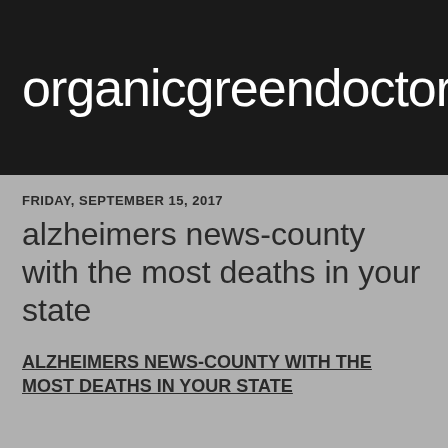organicgreendoctor
FRIDAY, SEPTEMBER 15, 2017
alzheimers news-county with the most deaths in your state
ALZHEIMERS NEWS-COUNTY WITH THE MOST DEATHS IN YOUR STATE